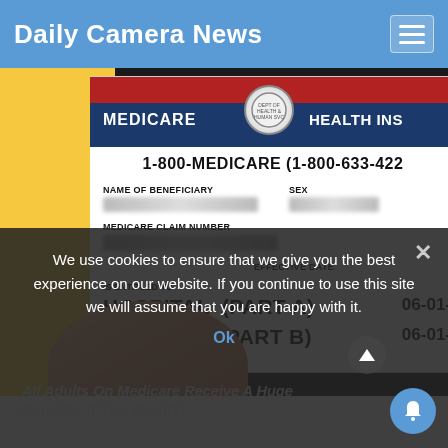Daily Camera News
[Figure (photo): A hand holding a Medicare Health Insurance card showing MEDICARE, HEALTH INS, phone number 1-800-MEDICARE (1-800-633-422...), NAME OF BENEFICIARY (blurred), MEDICARE CLAIM NUMBER (blurred), SEX (blurred), EFFECTIVE DATE, HOSPITAL (PART A) 06-01-..., MEDICAL (PART B) 06-01-...]
We use cookies to ensure that we give you the best experience on our website. If you continue to use this site we will assume that you are happy with it.
Ok
All Adults On Medicare Receive A Huge Benefit... If You Qualify)